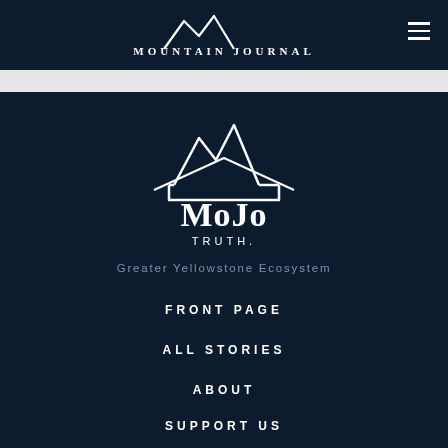Mountain Journal
[Figure (logo): MoJo Truth logo with mountain peaks illustration and text 'MoJo TRUTH.']
Greater Yellowstone Ecosystem
FRONT PAGE
ALL STORIES
ABOUT
SUPPORT US